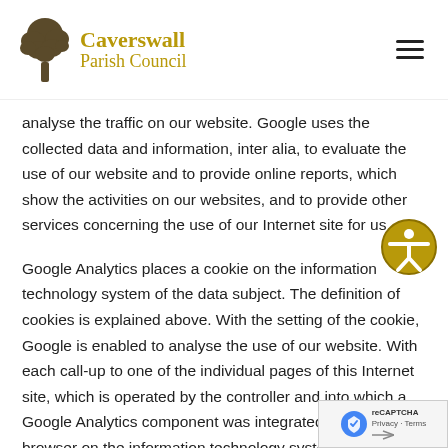Caverswall Parish Council
analyse the traffic on our website. Google uses the collected data and information, inter alia, to evaluate the use of our website and to provide online reports, which show the activities on our websites, and to provide other services concerning the use of our Internet site for us.
Google Analytics places a cookie on the information technology system of the data subject. The definition of cookies is explained above. With the setting of the cookie, Google is enabled to analyse the use of our website. With each call-up to one of the individual pages of this Internet site, which is operated by the controller and into which a Google Analytics component was integrated, the Internet browser on the information technology system of the data subject will automatically submit data through the Google Analytics component for the purpose of online advertising